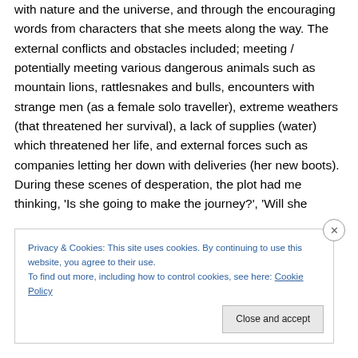with nature and the universe, and through the encouraging words from characters that she meets along the way. The external conflicts and obstacles included; meeting / potentially meeting various dangerous animals such as mountain lions, rattlesnakes and bulls, encounters with strange men (as a female solo traveller), extreme weathers (that threatened her survival), a lack of supplies (water) which threatened her life, and external forces such as companies letting her down with deliveries (her new boots). During these scenes of desperation, the plot had me thinking, 'Is she going to make the journey?', 'Will she
Privacy & Cookies: This site uses cookies. By continuing to use this website, you agree to their use.
To find out more, including how to control cookies, see here: Cookie Policy
Close and accept